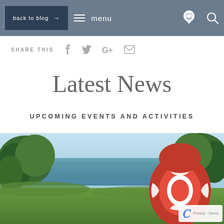back to blog → menu
SHARE THIS
Latest News
UPCOMING EVENTS AND ACTIVITIES
[Figure (photo): Outdoor lake or reservoir scene with blue sky, green trees on both sides, water in background, red lifebuoy/throwring in foreground right, green grass at bottom]